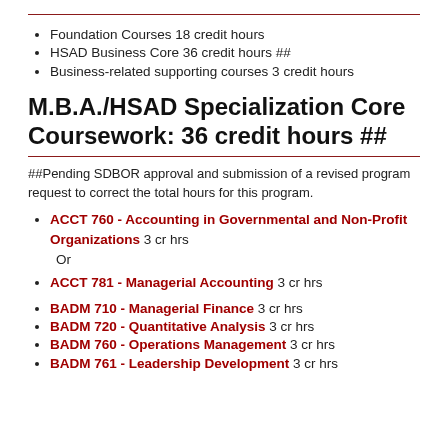Foundation Courses 18 credit hours
HSAD Business Core 36 credit hours ##
Business-related supporting courses 3 credit hours
M.B.A./HSAD Specialization Core Coursework: 36 credit hours ##
##Pending SDBOR approval and submission of a revised program request to correct the total hours for this program.
ACCT 760 - Accounting in Governmental and Non-Profit Organizations 3 cr hrs
Or
ACCT 781 - Managerial Accounting 3 cr hrs
BADM 710 - Managerial Finance 3 cr hrs
BADM 720 - Quantitative Analysis 3 cr hrs
BADM 760 - Operations Management 3 cr hrs
BADM 761 - Leadership Development 3 cr hrs